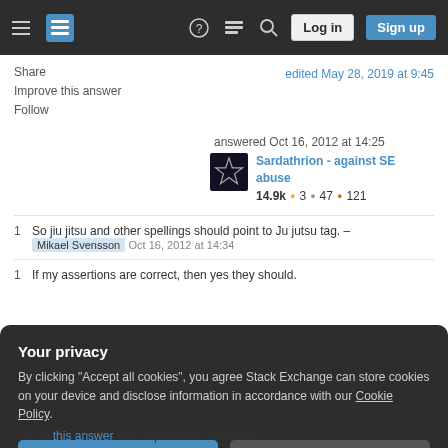Stack Exchange navigation bar with hamburger menu, logo, help, chat, search, Log in, Sign up buttons
Share
Improve this answer
Follow
edited May 28, 2019 at 9:45
answered Oct 16, 2012 at 14:25
Sardathrion - against SE abuse
14.9k ● 3 ● 47 ● 121
1  So jiu jitsu and other spellings should point to Ju jutsu tag. – Mikael Svensson  Oct 16, 2012 at 14:34
1  If my assertions are correct, then yes they should.
Your privacy
By clicking "Accept all cookies", you agree Stack Exchange can store cookies on your device and disclose information in accordance with our Cookie Policy.
Accept all cookies
Customize settings
look at this answer from a previous discussion.